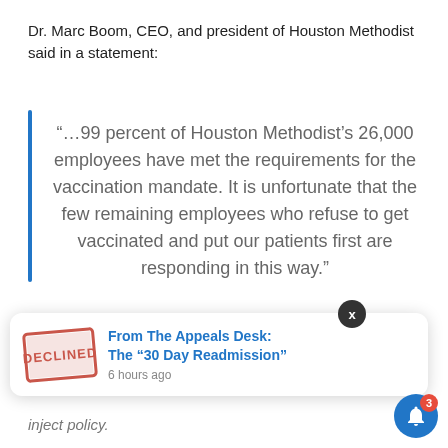Dr. Marc Boom, CEO, and president of Houston Methodist said in a statement:
“… 99 percent of Houston Methodist’s 26,000 employees have met the requirements for the vaccination mandate. It is unfortunate that the few remaining employees who refuse to get vaccinated and put our patients first are responding in this way.”
[Figure (screenshot): Popup notification card showing a 'DECLINED' stamp image and text: From The Appeals Desk: The “30 Day Readmission”, 6 hours ago]
idges and other fighting thi...
inject policy.